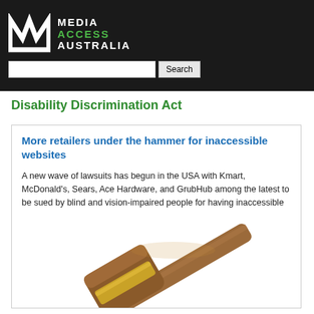[Figure (logo): Media Access Australia logo with stylized M letterform in white on black background, with text MEDIA ACCESS AUSTRALIA]
Disability Discrimination Act
More retailers under the hammer for inaccessible websites
A new wave of lawsuits has begun in the USA with Kmart, McDonald's, Sears, Ace Hardware, and GrubHub among the latest to be sued by blind and vision-impaired people for having inaccessible websites that exclude them from ordering products online.
[Figure (photo): Photograph of a wooden judge's gavel with brass band on a white background]